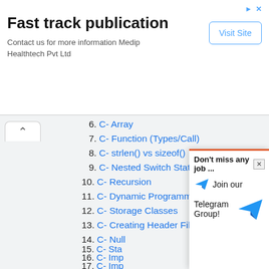[Figure (other): Advertisement banner: Fast track publication - Contact us for more information Medip Healthtech Pvt Ltd, with a Visit Site button]
6. C- Array
7. C- Function (Types/Call)
8. C- strlen() vs sizeof()
9. C- Nested Switch Statement
10. C- Recursion
11. C- Dynamic Programming
12. C- Storage Classes
13. C- Creating Header File
14. C- Null...
15. C- Sta...
16. C- Imp...
17. C- Imp...
18. C- File...
[Figure (other): Popup overlay: Don't miss any job ... Join our Telegram Group! with Telegram paper plane icons and a close button]